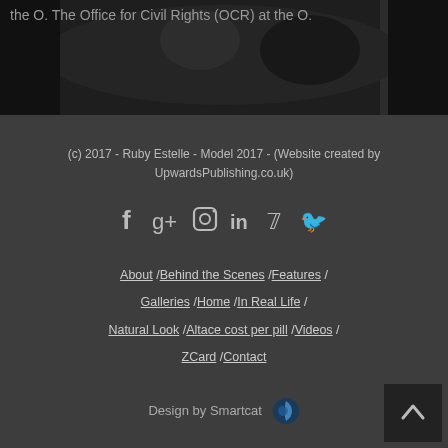[Figure (photo): Partial view of a person lying down, dark background image, cropped at top of page]
(c) 2017 - Ruby Estelle - Model 2017 - (Website created by UpwardsPublishing.co.uk)
[Figure (infographic): Row of social media icons: Facebook, Google+, Instagram, LinkedIn, Pinterest, Twitter]
About /Behind the Scenes /Features /Galleries /Home /In Real Life /Natural Look /Altace cost per pill /Videos /ZCard /Contact
Design by Smartcat
Back to top arrow button